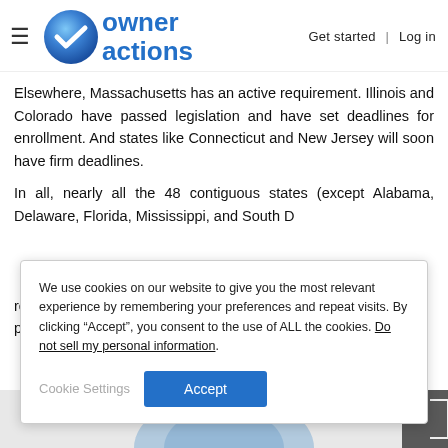owner actions — Get started | Log in
Elsewhere, Massachusetts has an active requirement. Illinois and Colorado have passed legislation and have set deadlines for enrollment. And states like Connecticut and New Jersey will soon have firm deadlines.
In all, nearly all the 48 contiguous states (except Alabama, Delaware, Florida, Mississippi, and South D[akota]) now require [or will soon require] insurance p[olicies]...
We use cookies on our website to give you the most relevant experience by remembering your preferences and repeat visits. By clicking “Accept”, you consent to the use of ALL the cookies. Do not sell my personal information.
[Figure (screenshot): Map/figure partially visible at bottom of page]